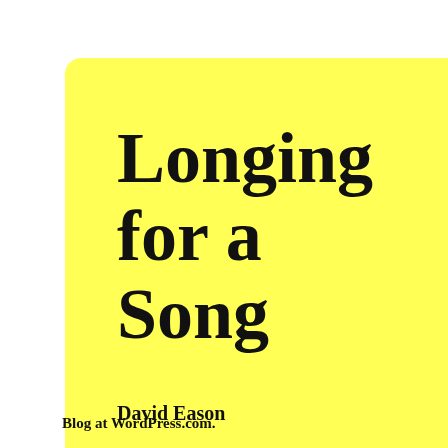[Figure (screenshot): Yellow speech-bubble shaped sidebar widget for the blog 'Longing for a Song' by David Eason, with navigation links Home, About, Stories, Scenes, RSS and Search icons, and a black bar element.]
Longing for a Song
David Eason
Home
About
Stories
Scenes
Blog at WordPress.com.
Sen
>
★ R
Repl
Rand
Dav don han for t to a writ
★ R
Repl
Lynn